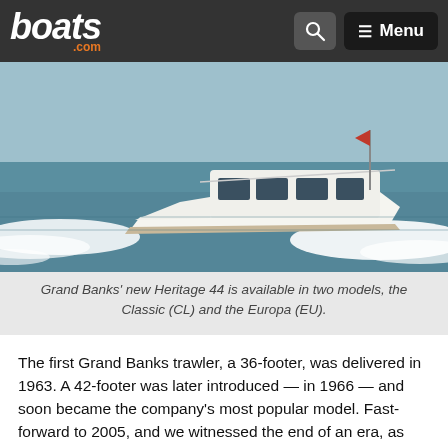boats.com — Menu
[Figure (photo): A white Grand Banks Heritage 44 motor trawler cruising at speed on the ocean, creating a large wake, with a red flag at the stern.]
Grand Banks' new Heritage 44 is available in two models, the Classic (CL) and the Europa (EU).
The first Grand Banks trawler, a 36-footer, was delivered in 1963. A 42-footer was later introduced — in 1966 — and soon became the company's most popular model. Fast-forward to 2005, and we witnessed the end of an era, as four decades of producing the venerable 42 ended with the delivery of hull number 1,560 in July.
When Grand Banks began building trawlers, most were powered with a single Lehman or a John Deere diesel engine. Both were slow,